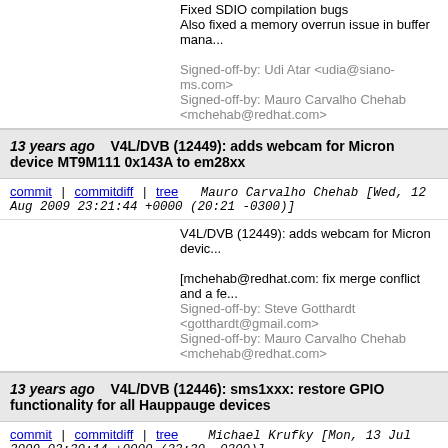Fixed SDIO compilation bugs
Also fixed a memory overrun issue in buffer mana...
Signed-off-by: Udi Atar <udia@siano-ms.com>
Signed-off-by: Mauro Carvalho Chehab <mchehab@redhat.com>
13 years ago   V4L/DVB (12449): adds webcam for Micron device MT9M111 0x143A to em28xx
commit | commitdiff | tree   Mauro Carvalho Chehab [Wed, 12 Aug 2009 23:21:44 +0000 (20:21 -0300)]
V4L/DVB (12449): adds webcam for Micron device...
[mchehab@redhat.com: fix merge conflict and a fe...
Signed-off-by: Steve Gotthardt <gotthardt@gmail.com>
Signed-off-by: Mauro Carvalho Chehab <mchehab@redhat.com>
13 years ago   V4L/DVB (12446): sms1xxx: restore GPIO functionality for all Hauppauge devices
commit | commitdiff | tree   Michael Krufky [Mon, 13 Jul 2009 02:30:14 +0000 (23:30 -0300)]
V4L/DVB (12446): sms1xxx: restore GPIO functio...
Previous changesets broke Hauppauge devices a...